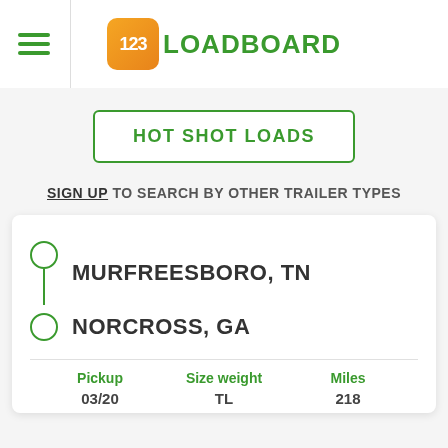123LOADBOARD
HOT SHOT LOADS
SIGN UP TO SEARCH BY OTHER TRAILER TYPES
MURFREESBORO, TN → NORCROSS, GA
| Pickup | Size weight | Miles |
| --- | --- | --- |
| 03/20 | TL | 218 |